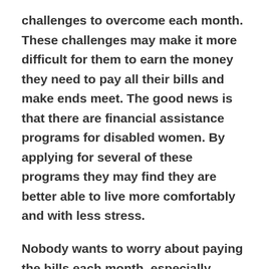challenges to overcome each month. These challenges may make it more difficult for them to earn the money they need to pay all their bills and make ends meet. The good news is that there are financial assistance programs for disabled women. By applying for several of these programs they may find they are better able to live more comfortably and with less stress.
Nobody wants to worry about paying the bills each month, especially disabled women who may have a difficult time trying to work to earn more money to meet their needs. There are financial assistance programs for disable women that they can turn to and